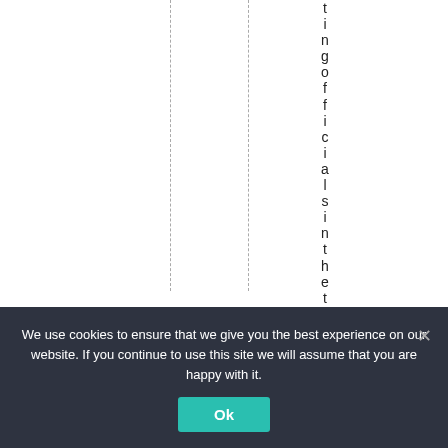tingofficialssinthe t
We use cookies to ensure that we give you the best experience on our website. If you continue to use this site we will assume that you are happy with it.